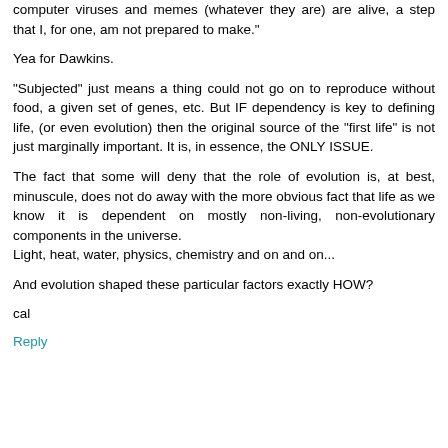computer viruses and memes (whatever they are) are alive, a step that I, for one, am not prepared to make."
Yea for Dawkins.
"Subjected" just means a thing could not go on to reproduce without food, a given set of genes, etc. But IF dependency is key to defining life, (or even evolution) then the original source of the "first life" is not just marginally important. It is, in essence, the ONLY ISSUE.
The fact that some will deny that the role of evolution is, at best, minuscule, does not do away with the more obvious fact that life as we know it is dependent on mostly non-living, non-evolutionary components in the universe.
Light, heat, water, physics, chemistry and on and on...
And evolution shaped these particular factors exactly HOW?
cal
Reply